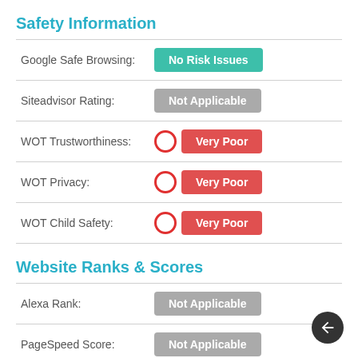Safety Information
| Label | Value |
| --- | --- |
| Google Safe Browsing: | No Risk Issues |
| Siteadvisor Rating: | Not Applicable |
| WOT Trustworthiness: | Very Poor |
| WOT Privacy: | Very Poor |
| WOT Child Safety: | Very Poor |
Website Ranks & Scores
| Label | Value |
| --- | --- |
| Alexa Rank: | Not Applicable |
| PageSpeed Score: | Not Applicable |
| Domain | Not Applicable |